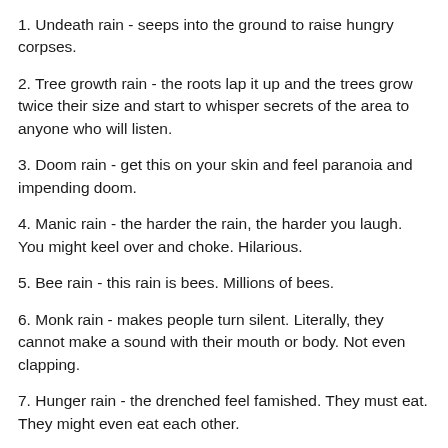1. Undeath rain - seeps into the ground to raise hungry corpses.
2. Tree growth rain - the roots lap it up and the trees grow twice their size and start to whisper secrets of the area to anyone who will listen.
3. Doom rain - get this on your skin and feel paranoia and impending doom.
4. Manic rain - the harder the rain, the harder you laugh. You might keel over and choke. Hilarious.
5. Bee rain - this rain is bees. Millions of bees.
6. Monk rain - makes people turn silent. Literally, they cannot make a sound with their mouth or body. Not even clapping.
7. Hunger rain - the drenched feel famished. They must eat. They might even eat each other.